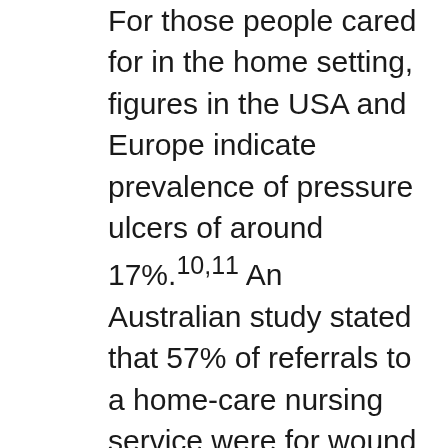For those people cared for in the home setting, figures in the USA and Europe indicate prevalence of pressure ulcers of around 17%.10,11 An Australian study stated that 57% of referrals to a home-care nursing service were for wound care.12 At any one time it is estimated that 0.11% of the Australian population will have an, process and progress of wound healing with nutrition as a vital component is addressed, including particular nutrient requirements. Wound Incidence/Prevalence About 2% of the U.S. adult population has a chronic wound. вЂў Chronic wounds are considered: pressure ulcers/injuries lower extremity ulcers diabetic foot